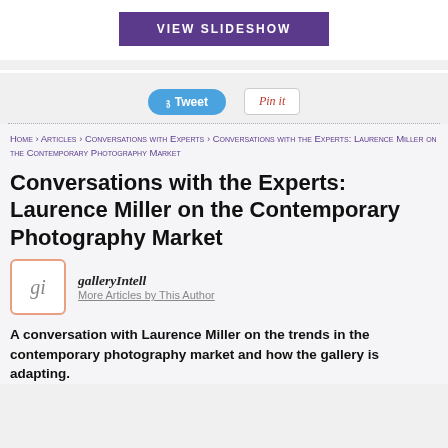[Figure (other): VIEW SLIDESHOW button in purple]
[Figure (other): Tweet and Pin it social share buttons]
Home › Articles › Conversations with Experts › Conversations with the Experts: Laurence Miller on the Contemporary Photography Market
Conversations with the Experts: Laurence Miller on the Contemporary Photography Market
[Figure (logo): galleryIntell gi logo]
galleryIntell
More Articles by This Author
A conversation with Laurence Miller on the trends in the contemporary photography market and how the gallery is adapting.